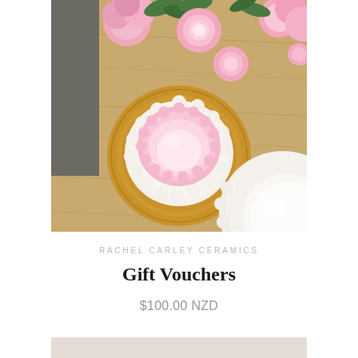[Figure (photo): Top-down view of ceramic tableware on a wooden table: a mustard yellow plate with a pink scalloped bowl and white scalloped plate stacked in the center, with a white scalloped plate and bowl visible at bottom right. Pink peony flowers and green leaves arranged around the dishes.]
RACHEL CARLEY CERAMICS
Gift Vouchers
$100.00 NZD